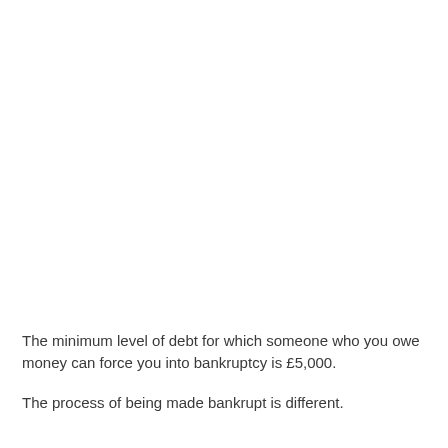The minimum level of debt for which someone who you owe money can force you into bankruptcy is £5,000.
The process of being made bankrupt is different.